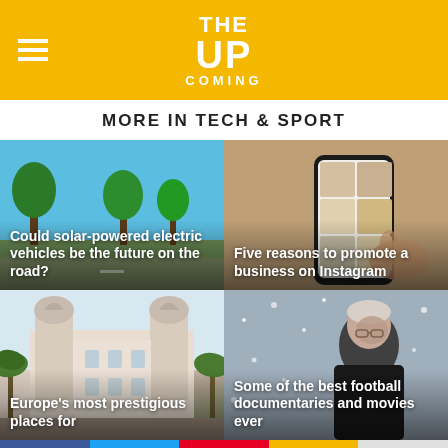THE UP COMING
MORE IN TECH & SPORT
[Figure (photo): Tree-lined street with blue sky, solar/electric vehicles article image]
Could solar-powered electric vehicles be the future on the road?
[Figure (photo): Close-up of a smartphone with decorative case held in hand, Instagram article image]
Five reasons to promote a business on Instagram
[Figure (photo): Grand European building with ornate facade and palm trees, Europe prestige article image]
Europe's most prestigious places for
[Figure (photo): Elderly man in snow, football documentaries article image]
Some of the best football documentaries and movies ever
Facebook | Twitter | Pinterest | Chat